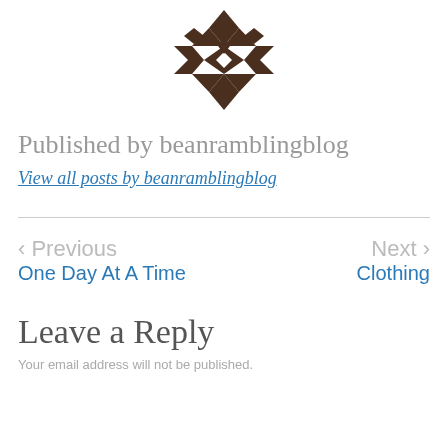[Figure (logo): Geometric quilt-pattern logo in dark brown, centered at top of page]
Published by beanramblingblog
View all posts by beanramblingblog
< Previous
One Day At A Time
Next >
Clothing
Leave a Reply
Your email address will not be published.